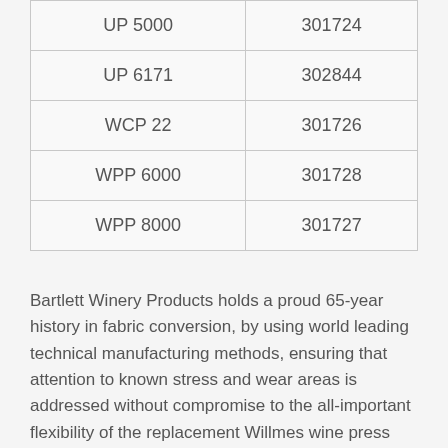| UP 5000 | 301724 |
| UP 6171 | 302844 |
| WCP 22 | 301726 |
| WPP 6000 | 301728 |
| WPP 8000 | 301727 |
Bartlett Winery Products holds a proud 65-year history in fabric conversion, by using world leading technical manufacturing methods, ensuring that attention to known stress and wear areas is addressed without compromise to the all-important flexibility of the replacement Willmes wine press membrane. Bartlett Winery Products use industry leading fabric capable of tolerating massive